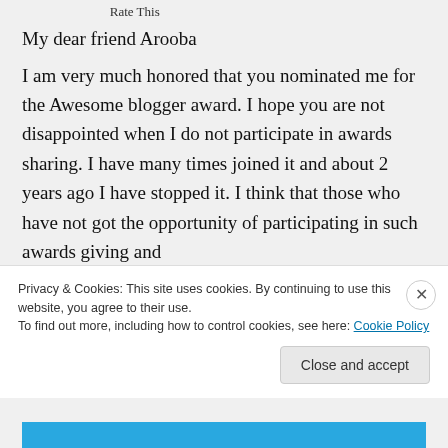Rate This
My dear friend Arooba
I am very much honored that you nominated me for the Awesome blogger award. I hope you are not disappointed when I do not participate in awards sharing. I have many times joined it and about 2 years ago I have stopped it. I think that those who have not got the opportunity of participating in such awards giving and
Privacy & Cookies: This site uses cookies. By continuing to use this website, you agree to their use.
To find out more, including how to control cookies, see here: Cookie Policy
Close and accept